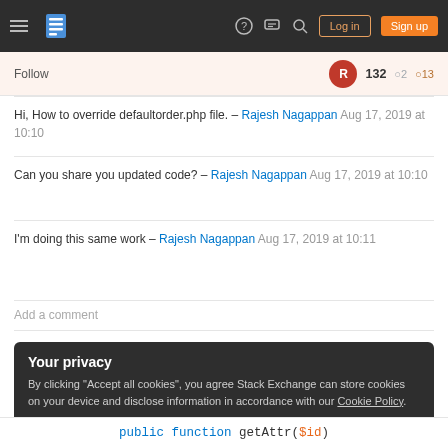Stack Exchange navigation bar with hamburger menu, logo, help, chat, search icons, Log in and Sign up buttons
Follow  132 ◯2 ◯13
Hi, How to override defaultorder.php file. – Rajesh Nagappan Aug 17, 2019 at 10:10
Can you share you updated code? – Rajesh Nagappan Aug 17, 2019 at 10:10
I'm doing this same work – Rajesh Nagappan Aug 17, 2019 at 10:11
Add a comment
Your privacy
By clicking "Accept all cookies", you agree Stack Exchange can store cookies on your device and disclose information in accordance with our Cookie Policy.
Accept all cookies
Customize settings
public function getAttr($id)